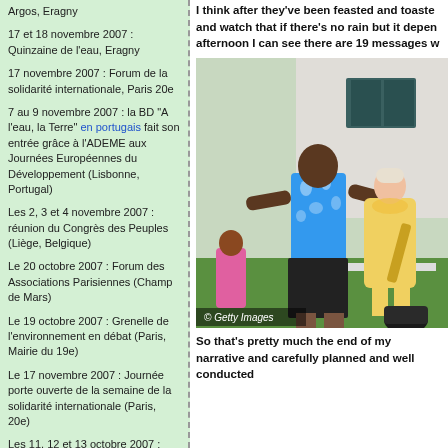Argos, Eragny
17 et 18 novembre 2007 : Quinzaine de l'eau, Eragny
17 novembre 2007 : Forum de la solidarité internationale, Paris 20e
7 au 9 novembre 2007 : la BD "A l'eau, la Terre" en portugais fait son entrée grâce à l'ADEME aux Journées Européennes du Développement (Lisbonne, Portugal)
Les 2, 3 et 4 novembre 2007 : réunion du Congrès des Peuples (Liège, Belgique)
Le 20 octobre 2007 : Forum des Associations Parisiennes (Champ de Mars)
Le 19 octobre 2007 : Grenelle de l'environnement en débat (Paris, Mairie du 19e)
Le 17 novembre 2007 : Journée porte ouverte de la semaine de la solidarité internationale (Paris, 20e)
Les 11, 12 et 13 octobre 2007 : Women's Forum 2007 à Deauville
I think after they've been feasted and toasted and watch that if there's no rain but it depends afternoon I can see there are 19 messages w
[Figure (photo): Photo of a man in a blue floral shirt and dark skirt/wrap standing outdoors near a building, with a woman in yellow dress beside him. © Getty Images watermark.]
So that's pretty much the end of my narrative and carefully planned and well conducted